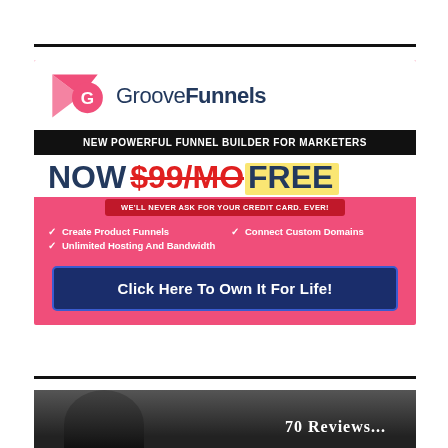[Figure (infographic): GrooveFunnels advertisement banner: logo at top, black banner with tagline, price crossed out now free, never ask credit card badge, feature checklist, blue CTA button]
70 Reviews...